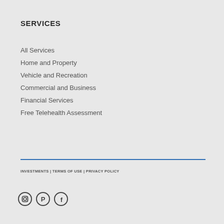SERVICES
All Services
Home and Property
Vehicle and Recreation
Commercial and Business
Financial Services
Free Telehealth Assessment
INVESTMENTS | TERMS OF USE | PRIVACY POLICY